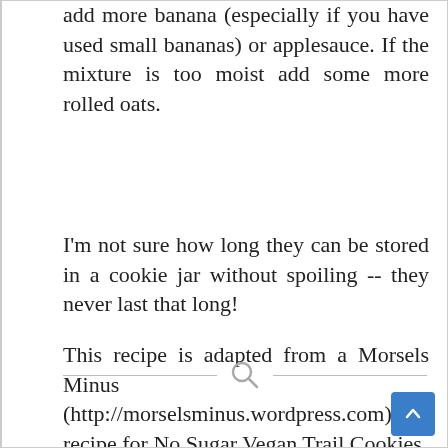add more banana (especially if you have used small bananas) or applesauce. If the mixture is too moist add some more rolled oats.
I'm not sure how long they can be stored in a cookie jar without spoiling -- they never last that long!
This recipe is adapted from a Morsels Minus (http://morselsminus.wordpress.com) recipe for No Sugar Vegan Trail Cookies.
[Figure (other): Search icon (magnifying glass) centered between two horizontal lines, forming a footer divider]